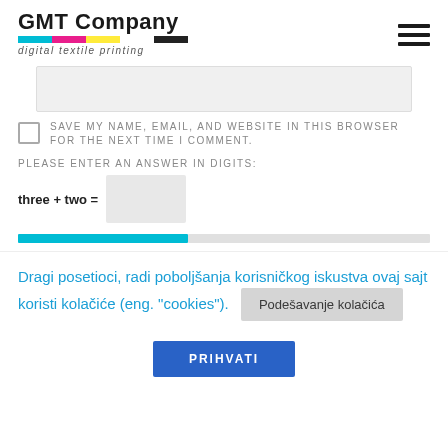GMT Company — digital textile printing
[Website input field]
SAVE MY NAME, EMAIL, AND WEBSITE IN THIS BROWSER FOR THE NEXT TIME I COMMENT.
PLEASE ENTER AN ANSWER IN DIGITS:
three + two =
Dragi posetioci, radi poboljšanja korisničkog iskustva ovaj sajt koristi kolačiće (eng. "cookies").
Podešavanje kolačića
PRIHVATI